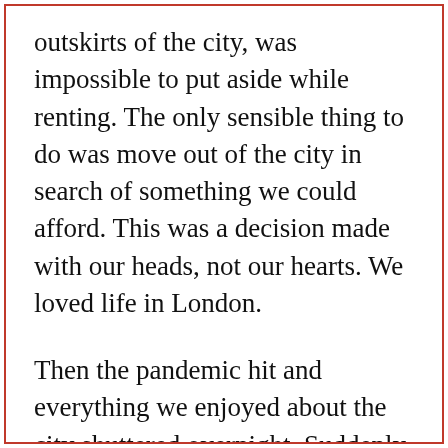outskirts of the city, was impossible to put aside while renting. The only sensible thing to do was move out of the city in search of something we could afford. This was a decision made with our heads, not our hearts. We loved life in London.
Then the pandemic hit and everything we enjoyed about the city shuttered overnight. Suddenly, we were working from home at opposite ends of the kitchen table (with an increasingly frustrated dog pinballing around our feet), with no green space to escape to. It was all the sweltering, noisy, cramped negatives with none of the